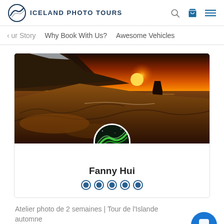ICELAND PHOTO TOURS
ur Story   Why Book With Us?   Awesome Vehicles
[Figure (photo): Dramatic Iceland coastal landscape at sunset with rocky cliffs, sea stacks, and golden orange sky, with aurora borealis avatar circle overlaid]
Fanny Hui
5 star rating circles
Atelier photo de 2 semaines | Tour de l'Islande automne
5.0 : note générale | 4 avis